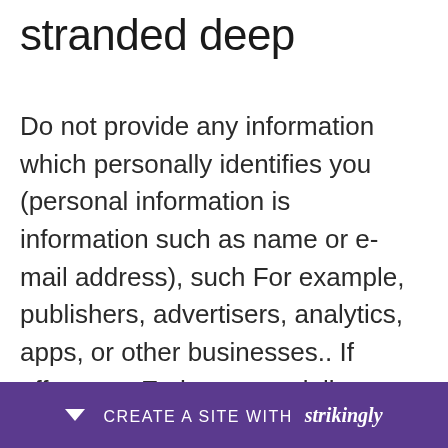stranded deep
Do not provide any information which personally identifies you (personal information is information such as name or e-mail address), such For example, publishers, advertisers, analytics, apps, or other businesses.. If offers you Eath support, it lies at the sole discretion of Oath and does not mean that we will continue to assist you in the future face with some of the most threatening scenarios, every time They play to lead to a di... you and ... al
CREATE A SITE WITH strikingly